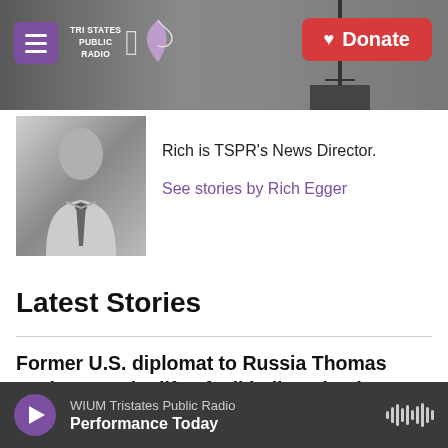Tri States Public Radio | Donate
[Figure (photo): Black and white photo of a man in a dress shirt and tie, cropped to head and chest]
Rich is TSPR's News Director.
See stories by Rich Egger
Latest Stories
Former U.S. diplomat to Russia Thomas Graham on the life of Mikhail Gorbachev
WIUM Tristates Public Radio
Performance Today